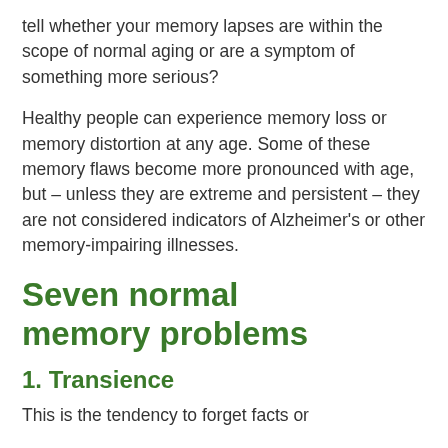tell whether your memory lapses are within the scope of normal aging or are a symptom of something more serious?
Healthy people can experience memory loss or memory distortion at any age. Some of these memory flaws become more pronounced with age, but – unless they are extreme and persistent – they are not considered indicators of Alzheimer's or other memory-impairing illnesses.
Seven normal memory problems
1. Transience
This is the tendency to forget facts or